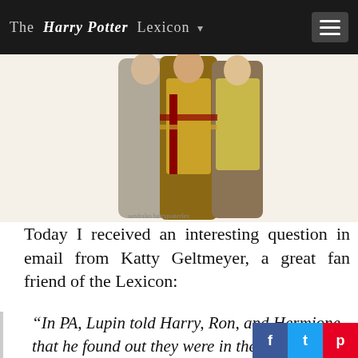The Harry Potter Lexicon
[Figure (illustration): Fan art illustration showing Harry Potter characters in Hogwarts robes, including figures in Gryffindor scarves]
Today I received an interesting question in email from Katty Geltmeyer, a great fan friend of the Lexicon:
“In PA, Lupin told Harry, Ron, and Hermione that he found out they were in the Shrieking Shack by using the marauders Map. But Harry and Hermione traveled back in time and were lurking around the W